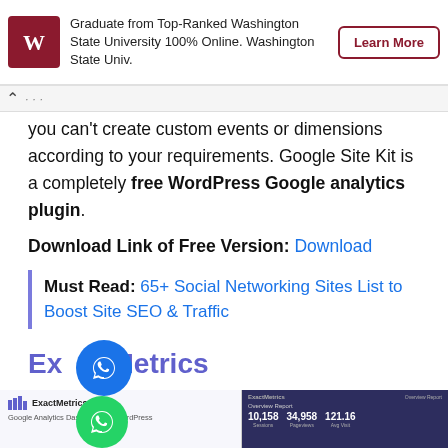[Figure (screenshot): Washington State University ad banner with logo, text 'Graduate from Top-Ranked Washington State University 100% Online. Washington State Univ.' and a 'Learn More' button]
...
you can't create custom events or dimensions according to your requirements. Google Site Kit is a completely free WordPress Google analytics plugin.
Download Link of Free Version: Download
Must Read: 65+ Social Networking Sites List to Boost Site SEO & Traffic
Exact Metrics
[Figure (screenshot): ExactMetrics - Google Analytics Dashboard for WordPress screenshot showing overview report with numbers 10,158 and 34,958 and 121.16]